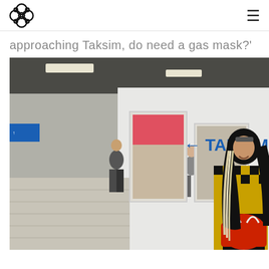[Logo icon] [Hamburger menu]
approaching Taksim, do need a gas mask?'
[Figure (photo): A woman wearing a black hijab, yellow and black checkered jacket, and carrying a large red handbag, standing in a metro station corridor. Behind her, a sign reads '← TAKSİM'. Other passengers walk in the background. The station has white walls, fluorescent lighting, and tiled floors.]